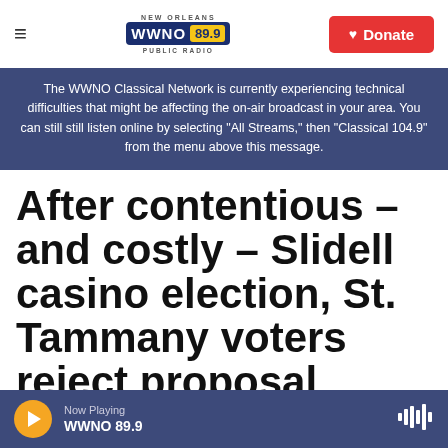NEW ORLEANS WWNO 89.9 PUBLIC RADIO | Donate
The WWNO Classical Network is currently experiencing technical difficulties that might be affecting the on-air broadcast in your area. You can still still listen online by selecting "All Streams," then "Classical 104.9" from the menu above this message.
After contentious – and costly – Slidell casino election, St. Tammany voters reject proposal
Now Playing WWNO 89.9